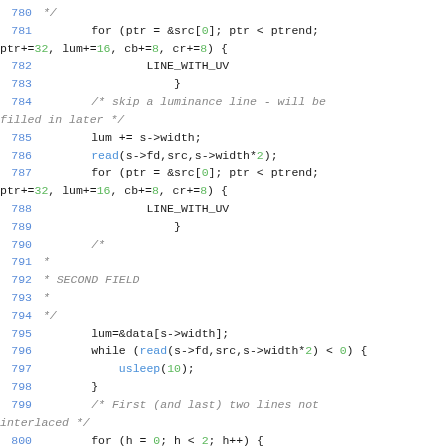[Figure (screenshot): Source code listing showing C code lines 780-800 with syntax highlighting. Line numbers in blue, keywords in black, function names in blue, numeric literals in green, comments in gray italic.]